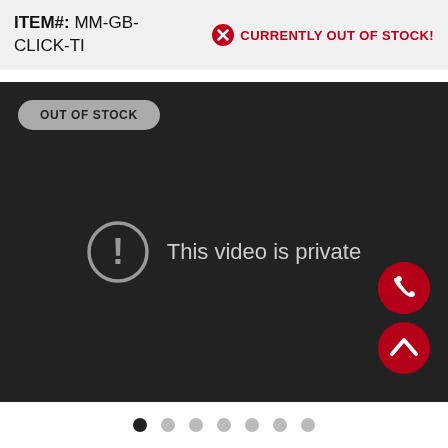ITEM#: MM-GB-CLICK-TI
CURRENTLY OUT OF STOCK!
[Figure (screenshot): Dark video player area showing 'Out of Stock' badge in upper left, a private video message with exclamation icon in center, and two circular red buttons (phone and chevron-up) in bottom right corner. Text reads: This video is private]
OUT OF STOCK
This video is private